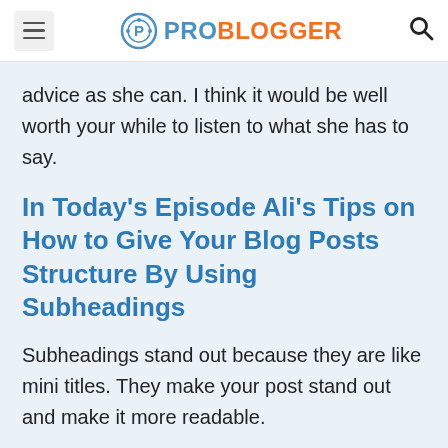ProBlogger
advice as she can. I think it would be well worth your while to listen to what she has to say.
In Today's Episode Ali's Tips on How to Give Your Blog Posts Structure By Using Subheadings
Subheadings stand out because they are like mini titles. They make your post stand out and make it more readable.